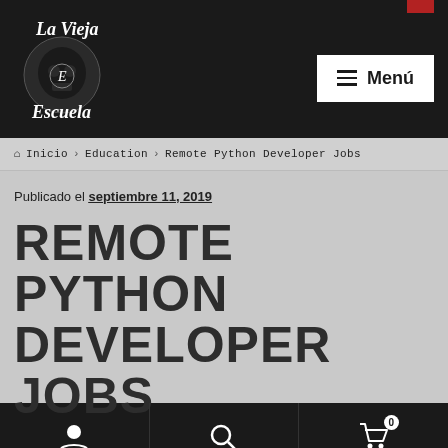[Figure (logo): La Vieja Escuela script logo in white on dark background]
Menú
🏠 Inicio › Education › Remote Python Developer Jobs
Publicado el septiembre 11, 2019
REMOTE PYTHON DEVELOPER JOBS
User icon | Search icon | Cart icon (0)